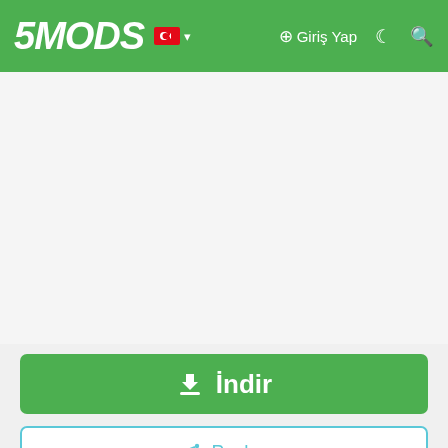5MODS — Giriş Yap
[Figure (screenshot): Green download button with download icon and text İndir]
[Figure (screenshot): Share button with share icon and text Paylaş]
[Figure (illustration): Author card showing cartoon avatar of person with yellow hat and sunglasses, author names Heinrich_Hans_The 16th, Foxunitone in green, with chat and avatar icons below]